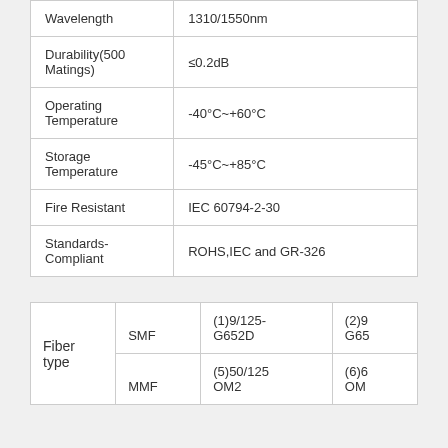| Parameter | Value |
| --- | --- |
| Wavelength | 1310/1550nm |
| Durability(500 Matings) | ≤0.2dB |
| Operating Temperature | -40°C~+60°C |
| Storage Temperature | -45°C~+85°C |
| Fire Resistant | IEC 60794-2-30 |
| Standards-Compliant | ROHS,IEC and GR-326 |
| Fiber type | SMF | (1)9/125-G652D | (2)9/...G65... | MMF | (5)50/125 OM2 | (6)6... OM... |
| --- | --- | --- | --- | --- | --- | --- |